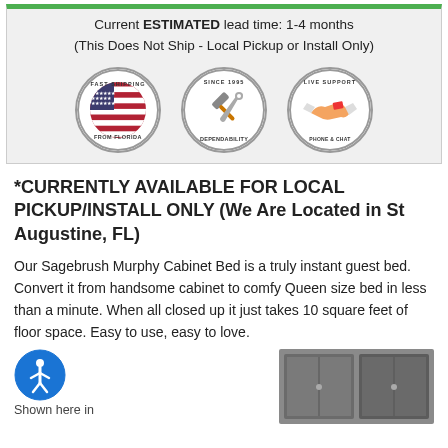Current ESTIMATED lead time: 1-4 months
(This Does Not Ship - Local Pickup or Install Only)
[Figure (infographic): Three circular badge icons: 'Fast Shipping From Florida' with US flag, 'Since 1995 Dependability' with hammer and wrench, 'Live Support Phone & Chat' with handshake]
*CURRENTLY AVAILABLE FOR LOCAL PICKUP/INSTALL ONLY (We Are Located in St Augustine, FL)
Our Sagebrush Murphy Cabinet Bed is a truly instant guest bed. Convert it from handsome cabinet to comfy Queen size bed in less than a minute. When all closed up it just takes 10 square feet of floor space. Easy to use, easy to love.
[Figure (illustration): Accessibility icon - blue circle with white figure]
Shown here in
[Figure (photo): Partial photo of a dark-colored Murphy cabinet bed]